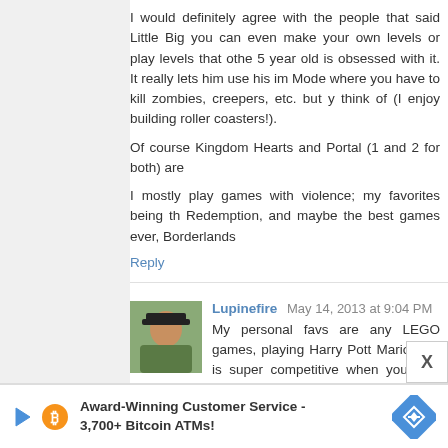I would definitely agree with the people that said Little Big you can even make your own levels or play levels that othe 5 year old is obsessed with it. It really lets him use his im Mode where you have to kill zombies, creepers, etc. but y think of (I enjoy building roller coasters!).
Of course Kingdom Hearts and Portal (1 and 2 for both) are
I mostly play games with violence; my favorites being th Redemption, and maybe the best games ever, Borderlands
Reply
Lupinefire  May 14, 2013 at 9:04 PM
My personal favs are any LEGO games, playing Harry Pott Mario Kart is super competitive when you play online ag going to check out the games you listed tho.
Reply
Anonymous  May 14, 2013 at 9:07 PM
The Paper Mario games are fantastic, story-driven, a cry!
[Figure (infographic): Advertisement banner: Award-Winning Customer Service - 3,700+ Bitcoin ATMs! with play button icon, bitcoin logo, and diamond arrow icon]